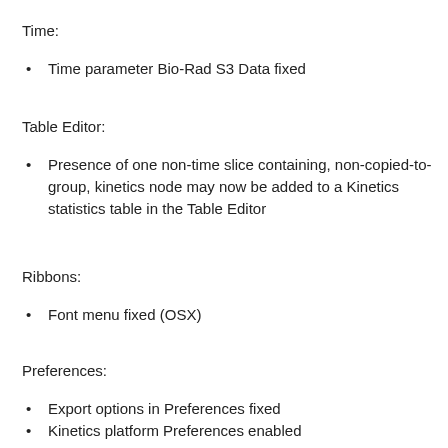Time:
Time parameter Bio-Rad S3 Data fixed
Table Editor:
Presence of one non-time slice containing, non-copied-to-group, kinetics node may now be added to a Kinetics statistics table in the Table Editor
Ribbons:
Font menu fixed (OSX)
Preferences:
Export options in Preferences fixed
Kinetics platform Preferences enabled
Population Comparison: